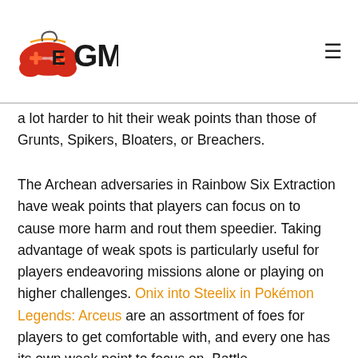EGM logo and navigation hamburger menu
a lot harder to hit their weak points than those of Grunts, Spikers, Bloaters, or Breachers.
The Archean adversaries in Rainbow Six Extraction have weak points that players can focus on to cause more harm and rout them speedier. Taking advantage of weak spots is particularly useful for players endeavoring missions alone or playing on higher challenges. Onix into Steelix in Pokémon Legends: Arceus are an assortment of foes for players to get comfortable with, and every one has its own weak point to focus on. Battle circumstances emerge frequently in Rainbow Six Extraction, so it's suggested that players gain proficiency